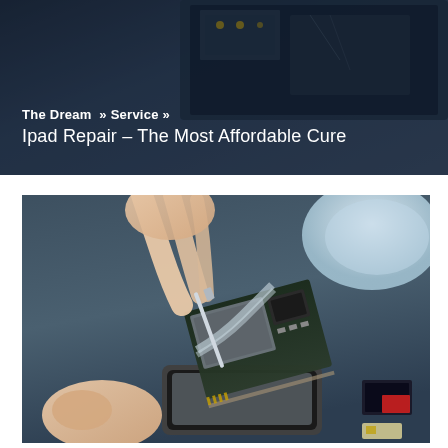[Figure (photo): Header banner photo showing disassembled electronic device (tablet/laptop) components including circuit board, dark blue/slate tones, with text overlay showing breadcrumb navigation and page title.]
The Dream » Service »
Ipad Repair – The Most Affordable Cure
[Figure (photo): Close-up photo of a technician's hands using a tool to repair/disassemble a smartphone (iPhone-style), with the motherboard and internal components visible, on a blue workbench surface with various small components and a white bowl visible in the background.]